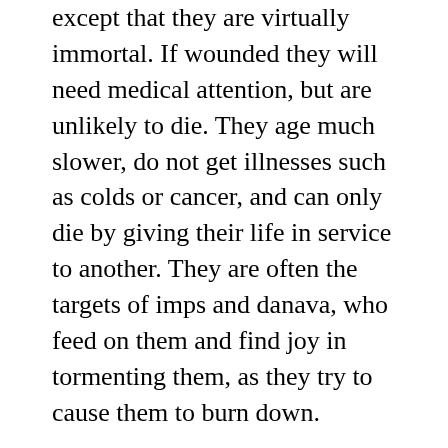except that they are virtually immortal. If wounded they will need medical attention, but are unlikely to die. They age much slower, do not get illnesses such as colds or cancer, and can only die by giving their life in service to another. They are often the targets of imps and danava, who feed on them and find joy in tormenting them, as they try to cause them to burn down.

In many cases, recidia will be sought out by the illuminati forces on the planet to which they exile themselves. This provides them protection and the ability to achieve penance (which means to return to Zion in full